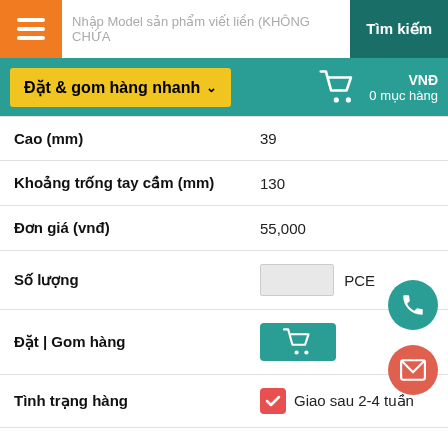[Figure (screenshot): Top navigation bar with hamburger menu (orange), search input placeholder text 'Nhập Model sản phẩm viết liền (KHÔNG CHỨA', and 'Tìm kiếm' button on teal background]
[Figure (screenshot): Second navigation bar with yellow 'Đặt & gom hàng nhanh' dropdown button, shopping cart icon, and 'VNĐ / 0 mục hàng' on teal background]
| Field | Value |
| --- | --- |
| Cao (mm) | 39 |
| Khoảng trống tay cầm (mm) | 130 |
| Đơn giá (vnđ) | 55,000 |
| Số lượng | PCE |
| Đặt | Gom hàng |  |
| Tình trạng hàng | Giao sau 2-4 tuần |